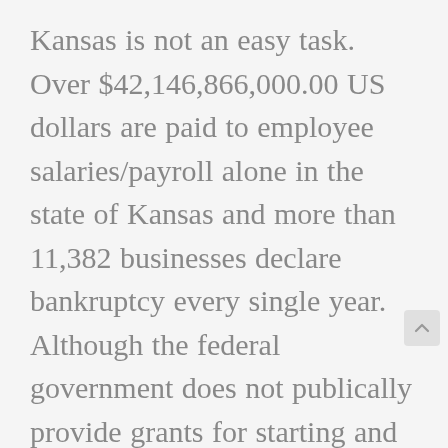Kansas is not an easy task. Over $42,146,866,000.00 US dollars are paid to employee salaries/payroll alone in the state of Kansas and more than 11,382 businesses declare bankruptcy every single year. Although the federal government does not publically provide grants for starting and expanding a business, in Kansas, some small business grants are given to bus owners to start and grow their ventures, and grant recipients do not have to pay back the funding from government. Therefore, it makes sense to look into small